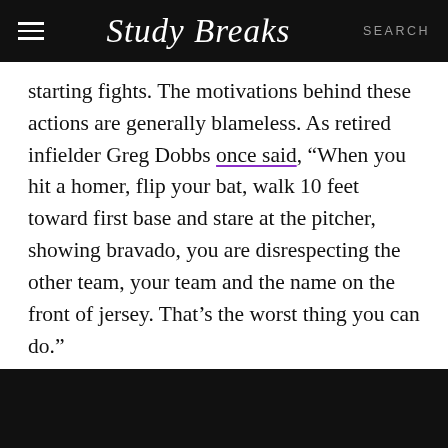Study Breaks  SEARCH
starting fights. The motivations behind these actions are generally blameless. As retired infielder Greg Dobbs once said, “When you hit a homer, flip your bat, walk 10 feet toward first base and stare at the pitcher, showing bravado, you are disrespecting the other team, your team and the name on the front of jersey. That’s the worst thing you can do.”
Encouraging people to not show off and play the game the right way is almost always the right